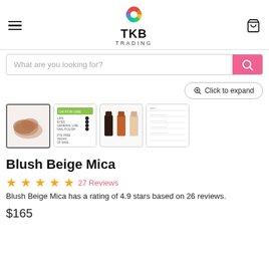TKB TRADING
What are you looking for?
[Figure (screenshot): Click to expand button]
[Figure (photo): Product thumbnail images: loose powder swatch, OK for use chart, nail polish bottles, ingredient/use table]
Blush Beige Mica
27 Reviews
Blush Beige Mica has a rating of 4.9 stars based on 26 reviews.
$165